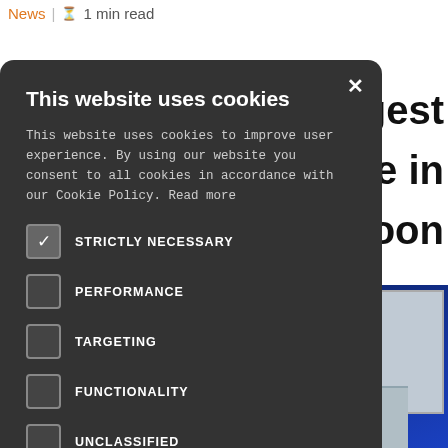News | 1 min read
biggest
ease in
oon
[Figure (screenshot): Cookie consent modal dialog on a news website with dark background showing cookie options and accept/decline buttons]
[Figure (photo): Industrial equipment/machine with blue background and control screen showing colored bars]
This website uses cookies
This website uses cookies to improve user experience. By using our website you consent to all cookies in accordance with our Cookie Policy. Read more
STRICTLY NECESSARY
PERFORMANCE
TARGETING
FUNCTIONALITY
UNCLASSIFIED
ACCEPT ALL
DECLINE ALL
SHOW DETAILS